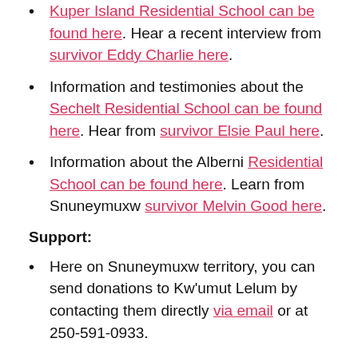Kuper Island Residential School can be found here. Hear a recent interview from survivor Eddy Charlie here.
Information and testimonies about the Sechelt Residential School can be found here. Hear from survivor Elsie Paul here.
Information about the Alberni Residential School can be found here. Learn from Snuneymuxw survivor Melvin Good here.
Support:
Here on Snuneymuxw territory, you can send donations to Kw'umut Lelum by contacting them directly via email or at 250-591-0933.
You can contribute to the campaign to search for...